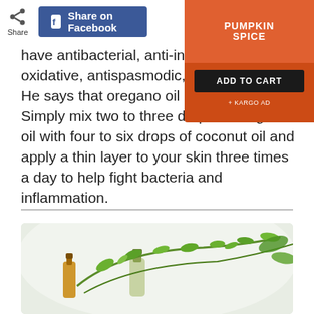[Figure (screenshot): Share button with icon and Facebook share button in a bar at top]
[Figure (infographic): Advertisement box: Pumpkin Spice product ADD TO CART button, + KARGO AD label]
have antibacterial, anti-inflammatory, oxidative, antispasmodic, and antiseptic. He says that oregano oil is great for feet. Simply mix two to three drops of oregano oil with four to six drops of coconut oil and apply a thin layer to your skin three times a day to help fight bacteria and inflammation.
[Figure (photo): Photo of essential oil bottles and fresh herb sprigs (oregano/thyme) with white background and green leaves]